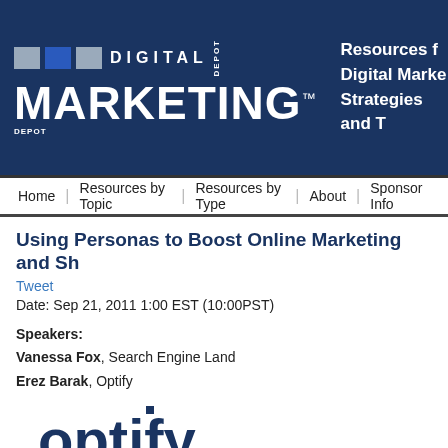[Figure (logo): Digital Marketing Depot logo with colored squares and bold text on dark blue background]
Resources for Digital Marketing Strategies and T...
Home | Resources by Topic | Resources by Type | About | Sponsor Info
Using Personas to Boost Online Marketing and Sh...
Tweet
Date: Sep 21, 2011 1:00 EST (10:00PST)
Speakers:
Vanessa Fox, Search Engine Land
Erez Barak, Optify
[Figure (logo): Optify logo in dark blue text on white background]
There's no shortage of conventional wisdom on how good SEOs can navig... potentially dangerous game of web spam detection, in which the search en... link spammers are constantly trying to outsmart and stay one step ahead o... other.